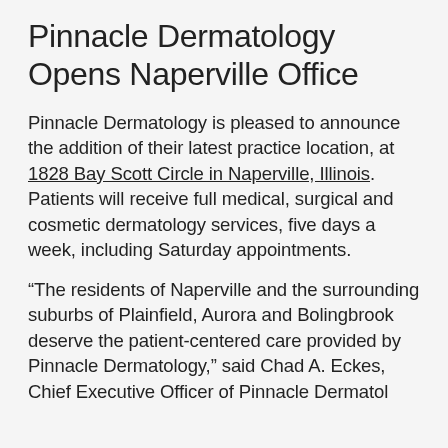Pinnacle Dermatology Opens Naperville Office
Pinnacle Dermatology is pleased to announce the addition of their latest practice location, at 1828 Bay Scott Circle in Naperville, Illinois.  Patients will receive full medical, surgical and cosmetic dermatology services, five days a week, including Saturday appointments.
“The residents of Naperville and the surrounding suburbs of Plainfield, Aurora and Bolingbrook deserve the patient-centered care provided by Pinnacle Dermatology,” said Chad A. Eckes, Chief Executive Officer of Pinnacle Dermatology.